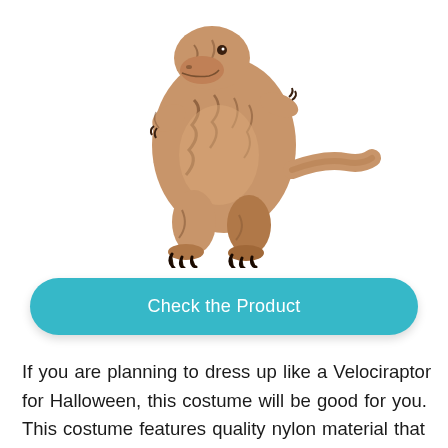[Figure (photo): Inflatable T-Rex / Velociraptor dinosaur costume, brown with dark markings, shown standing upright with small arms raised, black claws on feet, tail visible to the right]
Check the Product
If you are planning to dress up like a Velociraptor for Halloween, this costume will be good for you. This costume features quality nylon material that will be very durable and comfortable as well. The